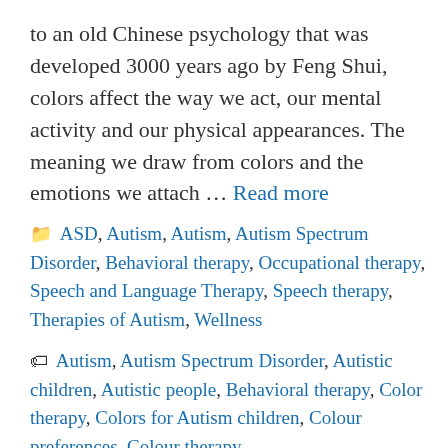to an old Chinese psychology that was developed 3000 years ago by Feng Shui, colors affect the way we act, our mental activity and our physical appearances. The meaning we draw from colors and the emotions we attach … Read more
Categories: ASD, Autism, Autism, Autism Spectrum Disorder, Behavioral therapy, Occupational therapy, Speech and Language Therapy, Speech therapy, Therapies of Autism, Wellness
Tags: Autism, Autism Spectrum Disorder, Autistic children, Autistic people, Behavioral therapy, Color therapy, Colors for Autism children, Colour preferences, Colour therapy